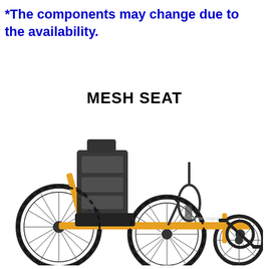*The components may change due to the availability.
MESH SEAT
[Figure (photo): A recumbent trike (tadpole configuration) with a yellow/orange frame, black mesh seat with headrest, three wheels, handlebars, and a visible crankset/pedals on the right side. The trike has large spoked wheels and appears to be a Performer brand recumbent trike.]